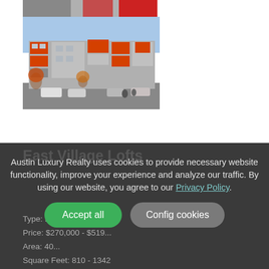[Figure (photo): Partial top image showing red and grey elements, cropped at top of page]
[Figure (photo): Exterior photo of East Village Lofts building complex with orange and grey facade, parking lot in foreground, trees, blue sky]
East Village Lofts
Austin Luxury Realty uses cookies to provide necessary website functionality, improve your experience and analyze our traffic. By using our website, you agree to our Privacy Policy.
Accept all
Config cookies
Type: Low-Rise
Price: $270,000 - $519...
Area: 40...
Square Feet: 810 - 1342